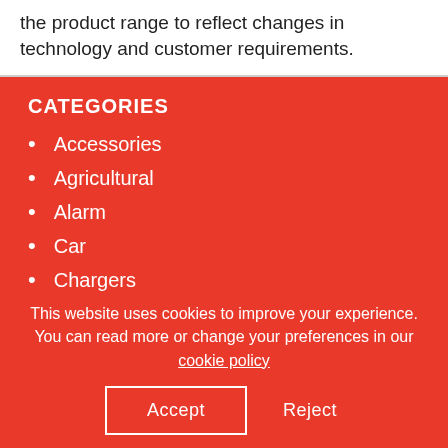the product range to reflect changes in technology and customer requirements.
CATEGORIES
Accessories
Agricultural
Alarm
Car
Chargers
This website uses cookies to improve your experience. You can read more or change your preferences in our cookie policy
Accept   Reject